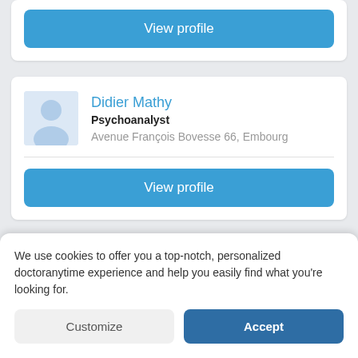[Figure (other): Blue 'View profile' button for a doctor listing card (top, partially visible)]
Didier Mathy
Psychoanalyst
Avenue François Bovesse 66, Embourg
[Figure (other): Blue 'View profile' button for Didier Mathy]
Pierre Paul Knops
Psychoanalyst
We use cookies to offer you a top-notch, personalized doctoranytime experience and help you easily find what you're looking for.
Customize
Accept